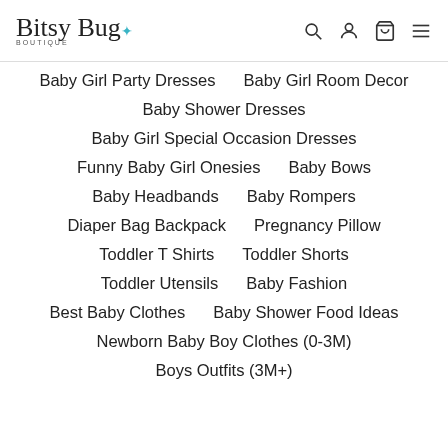Bitsy Bug Boutique — navigation header with logo and icons
Baby Girl Party Dresses
Baby Girl Room Decor
Baby Shower Dresses
Baby Girl Special Occasion Dresses
Funny Baby Girl Onesies
Baby Bows
Baby Headbands
Baby Rompers
Diaper Bag Backpack
Pregnancy Pillow
Toddler T Shirts
Toddler Shorts
Toddler Utensils
Baby Fashion
Best Baby Clothes
Baby Shower Food Ideas
Newborn Baby Boy Clothes (0-3M)
Boys Outfits (3M+)